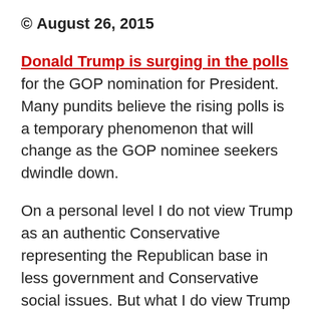© August 26, 2015
Donald Trump is surging in the polls for the GOP nomination for President. Many pundits believe the rising polls is a temporary phenomenon that will change as the GOP nominee seekers dwindle down.
On a personal level I do not view Trump as an authentic Conservative representing the Republican base in less government and Conservative social issues. But what I do view Trump as is a candidate that is not spewing a political line. He is saying things that resonate with the Republican base but isn't necessarily something that is doable, at least not on a grand